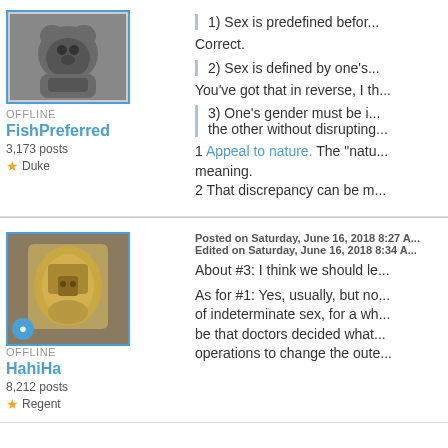[Figure (photo): Avatar of user FishPreferred showing a bear]
OFFLINE
FishPreferred
3,173 posts
Duke
1) Sex is predefined befor...
Correct.
2) Sex is defined by one's...
You've got that in reverse, I th...
3) One's gender must be i... the other without disrupting...
1 Appeal to nature. The "natu... meaning.
2 That discrepancy can be m...
[Figure (photo): Avatar of user HahiHa showing a golden bucket/trophy]
OFFLINE
HahiHa
8,212 posts
Regent
Posted on Saturday, June 16, 2018 8:27 A...
Edited on Saturday, June 16, 2018 8:34 A...
About #3: I think we should le...
As for #1: Yes, usually, but no... of indeterminate sex, for a wh... be that doctors decided what... operations to change the oute...